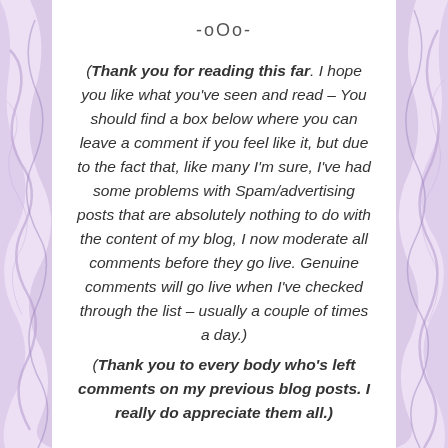-oOo-
(Thank you for reading this far. I hope you like what you've seen and read – You should find a box below where you can leave a comment if you feel like it, but due to the fact that, like many I'm sure, I've had some problems with Spam/advertising posts that are absolutely nothing to do with the content of my blog, I now moderate all comments before they go live. Genuine comments will go live when I've checked through the list – usually a couple of times a day.) (Thank you to every body who's left comments on my previous blog posts. I really do appreciate them all.)